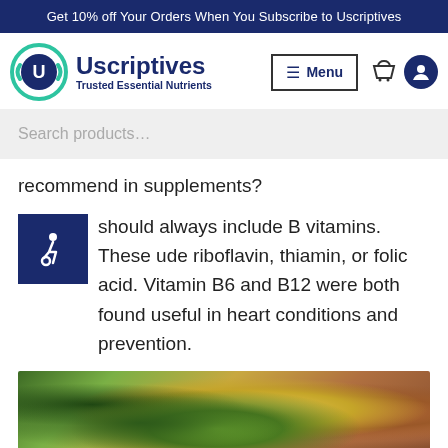Get 10% off Your Orders When You Subscribe to Uscriptives
[Figure (logo): Uscriptives logo with circular U icon in teal/green and dark blue text reading 'Uscriptives Trusted Essential Nutrients']
recommend in supplements?
should always include B vitamins. These ude riboflavin, thiamin, or folic acid. Vitamin B6 and B12 were both found useful in heart conditions and prevention.
[Figure (photo): Food photograph showing avocado, olives in a white dish, olive oil, and other healthy foods on a wooden surface]